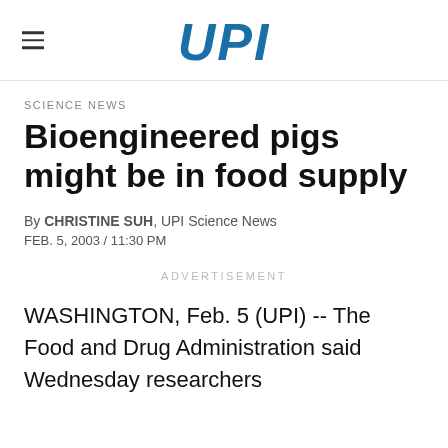UPI
SCIENCE NEWS
Bioengineered pigs might be in food supply
By CHRISTINE SUH, UPI Science News
FEB. 5, 2003 / 11:30 PM
ADVERTISEMENT
WASHINGTON, Feb. 5 (UPI) -- The Food and Drug Administration said Wednesday researchers